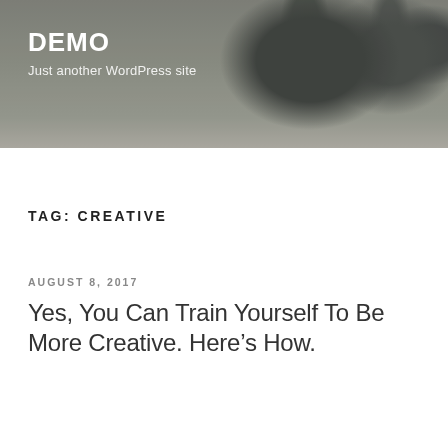DEMO
Just another WordPress site
[Figure (photo): Header banner with dark background and blurred potted plants on a wooden surface]
TAG: CREATIVE
AUGUST 8, 2017
Yes, You Can Train Yourself To Be More Creative. Here’s How.